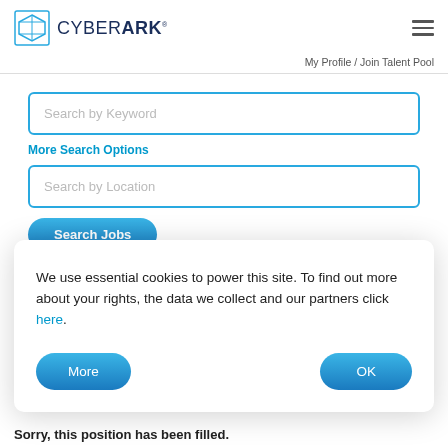CYBERARK
My Profile / Join Talent Pool
[Figure (screenshot): Search by Keyword input field with teal border]
More Search Options
[Figure (screenshot): Search by Location input field with teal border]
[Figure (screenshot): Search Jobs button in blue gradient]
We use essential cookies to power this site. To find out more about your rights, the data we collect and our partners click here.
More
OK
Sorry, this position has been filled.